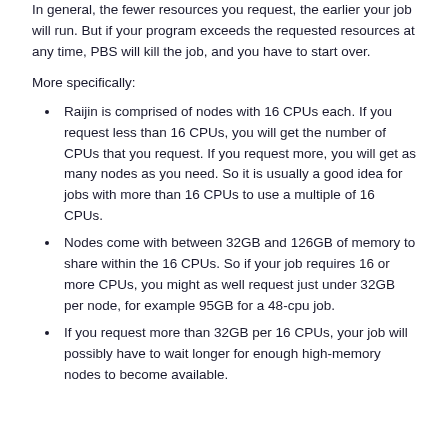In general, the fewer resources you request, the earlier your job will run. But if your program exceeds the requested resources at any time, PBS will kill the job, and you have to start over.
More specifically:
Raijin is comprised of nodes with 16 CPUs each. If you request less than 16 CPUs, you will get the number of CPUs that you request. If you request more, you will get as many nodes as you need. So it is usually a good idea for jobs with more than 16 CPUs to use a multiple of 16 CPUs.
Nodes come with between 32GB and 126GB of memory to share within the 16 CPUs. So if your job requires 16 or more CPUs, you might as well request just under 32GB per node, for example 95GB for a 48-cpu job.
If you request more than 32GB per 16 CPUs, your job will possibly have to wait longer for enough high-memory nodes to become available.